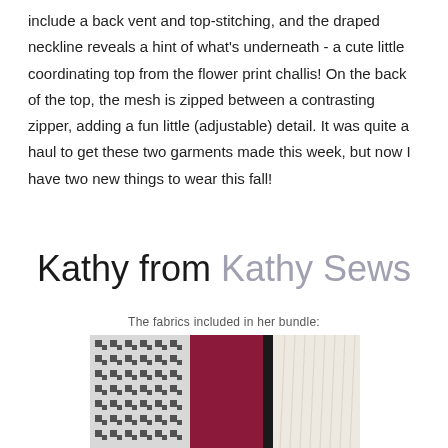include a back vent and top-stitching, and the draped neckline reveals a hint of what's underneath - a cute little coordinating top from the flower print challis! On the back of the top, the mesh is zipped between a contrasting zipper, adding a fun little (adjustable) detail. It was quite a haul to get these two garments made this week, but now I have two new things to wear this fall!
Kathy from Kathy Sews
The fabrics included in her bundle:
[Figure (photo): Photo of fabric swatches including a black and white houndstooth fabric, a deep magenta/burgundy solid fabric, a black strip, and a white textured fabric arranged overlapping each other.]